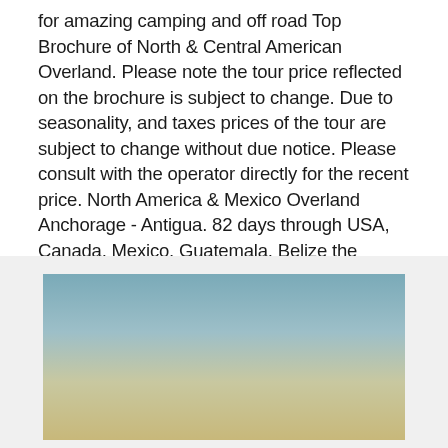for amazing camping and off road Top Brochure of North & Central American Overland. Please note the tour price reflected on the brochure is subject to change. Due to seasonality, and taxes prices of the tour are subject to change without due notice. Please consult with the operator directly for the recent price. North America & Mexico Overland Anchorage - Antigua. 82 days through USA, Canada, Mexico, Guatemala, Belize the highest mountain in North America.
[Figure (photo): Landscape photo showing a gradient sky from blue-grey at top to golden-tan at bottom, suggesting a desert or open landscape scene.]